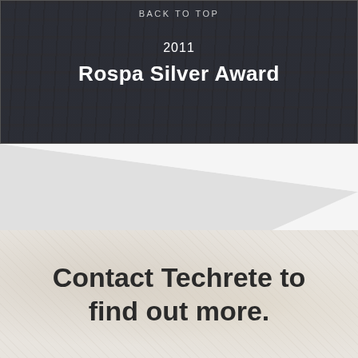BACK TO TOP
2011
Rospa Silver Award
[Figure (illustration): Diagonal light gray triangular shape on white background, decorative section divider]
Contact Techrete to find out more.